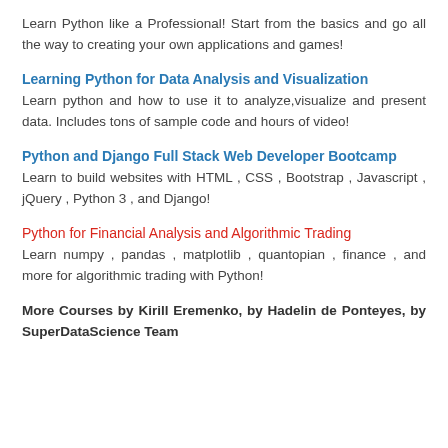Learn Python like a Professional! Start from the basics and go all the way to creating your own applications and games!
Learning Python for Data Analysis and Visualization
Learn python and how to use it to analyze,visualize and present data. Includes tons of sample code and hours of video!
Python and Django Full Stack Web Developer Bootcamp
Learn to build websites with HTML , CSS , Bootstrap , Javascript , jQuery , Python 3 , and Django!
Python for Financial Analysis and Algorithmic Trading
Learn numpy , pandas , matplotlib , quantopian , finance , and more for algorithmic trading with Python!
More Courses by Kirill Eremenko, by Hadelin de Ponteyes, by SuperDataScience Team